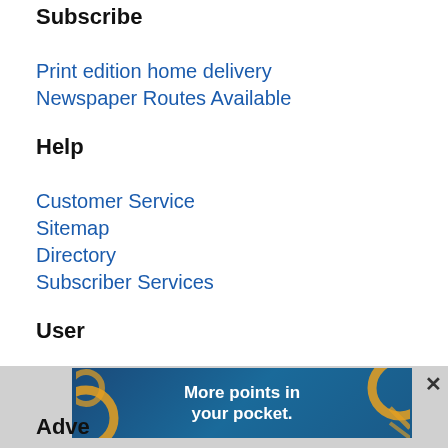Subscribe
Print edition home delivery
Newspaper Routes Available
Help
Customer Service
Sitemap
Directory
Subscriber Services
User
Subscribe
My Account
Log in/Register
[Figure (infographic): Advertisement banner with blue background, golden/orange decorative circular shapes on left and right sides, and white bold text reading 'More points in your pocket.']
Adve